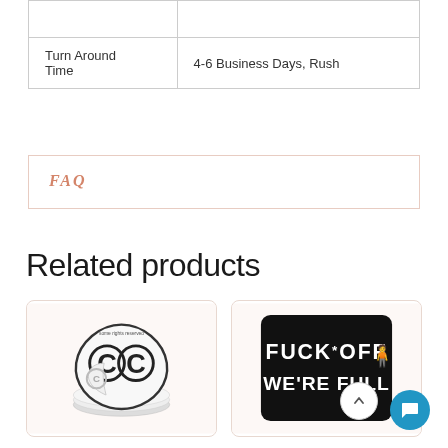|  |  |
| --- | --- |
|  |  |
| Turn Around Time | 4-6 Business Days, Rush |
FAQ
Related products
[Figure (photo): Stack of round stickers with CC logo (Creative Commons style) in black and white]
[Figure (photo): Black rectangular sticker with white text reading FUCK OFF WE'RE FULL]